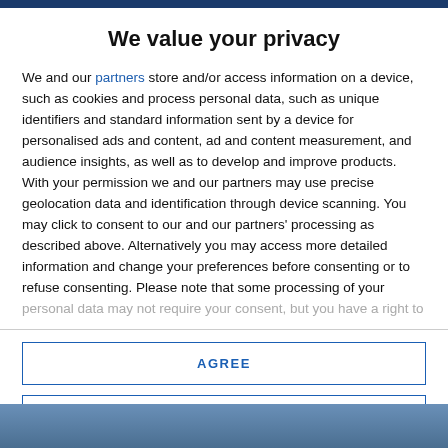We value your privacy
We and our partners store and/or access information on a device, such as cookies and process personal data, such as unique identifiers and standard information sent by a device for personalised ads and content, ad and content measurement, and audience insights, as well as to develop and improve products. With your permission we and our partners may use precise geolocation data and identification through device scanning. You may click to consent to our and our partners' processing as described above. Alternatively you may access more detailed information and change your preferences before consenting or to refuse consenting. Please note that some processing of your personal data may not require your consent, but you have a right to
AGREE
MORE OPTIONS
[Figure (photo): Bottom portion of a photo visible, showing a person]